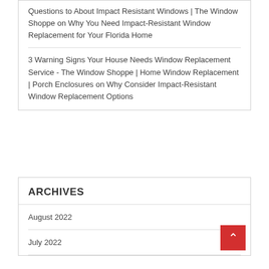Questions to About Impact Resistant Windows | The Window Shoppe on Why You Need Impact-Resistant Window Replacement for Your Florida Home
3 Warning Signs Your House Needs Window Replacement Service - The Window Shoppe | Home Window Replacement | Porch Enclosures on Why Consider Impact-Resistant Window Replacement Options
ARCHIVES
August 2022
July 2022